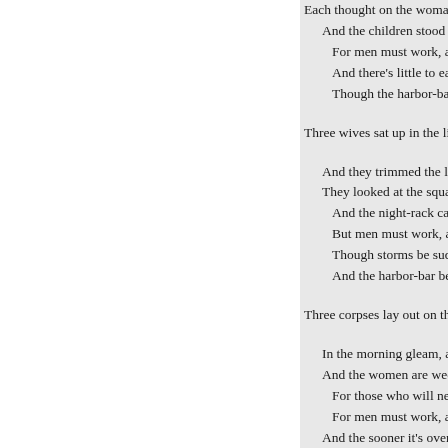Each thought on the woman... / And the children stood wa... / For men must work, and ... / And there's little to earn, a... / Though the harbor-bar b... / Three wives sat up in the light-h... / And they trimmed the lamp... / They looked at the squall, a... / And the night-rack came r... / But men must work, and ... / Though storms be sudden... / And the harbor-bar be mo... / Three corpses lay out on the shim... / In the morning gleam, as t... / And the women are weepin... / For those who will never c... / For men must work, and ... / And the sooner it's over, t... / And good-by to the bar and ... / CHARLES